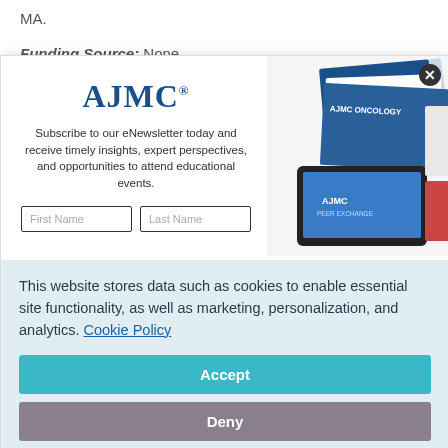MA.
Funding Source: None.
Author Disclosures: The authors (JA-M, RSH) report no
[Figure (screenshot): AJMC newsletter subscription modal with logo, description text, First Name and Last Name input fields, and stacked publication images on the right side. A close button (X) is in the top right corner.]
This website stores data such as cookies to enable essential site functionality, as well as marketing, personalization, and analytics. Cookie Policy
Accept
Deny